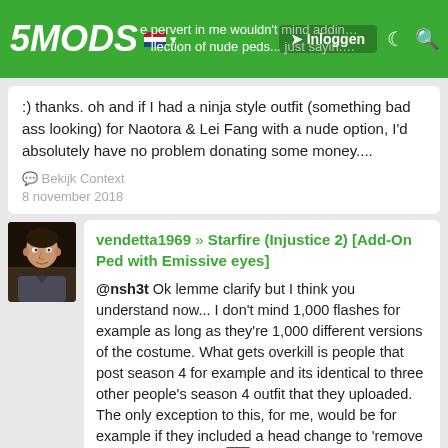5MODS | Inloggen navigation bar with Dutch flag
:) thanks. oh and if I had a ninja style outfit (something bad ass looking) for Naotora & Lei Fang with a nude option, I'd absolutely have no problem donating some money....
Bekijk Context
8 november 2018
vendetta1969 » Starfire (Injustice 2) [Add-On Ped with Emissive eyes]
@nsh3t Ok lemme clarify but I think you understand now... I don't mind 1,000 flashes for example as long as they're 1,000 different versions of the costume. What gets overkill is people that post season 4 for example and its identical to three other people's season 4 outfit that they uploaded. The only exception to this, for me, would be for example if they included a head change to 'remove the mask'... that's all X
I want variations, different comic versions of the characters---that to me is awesome. However there's